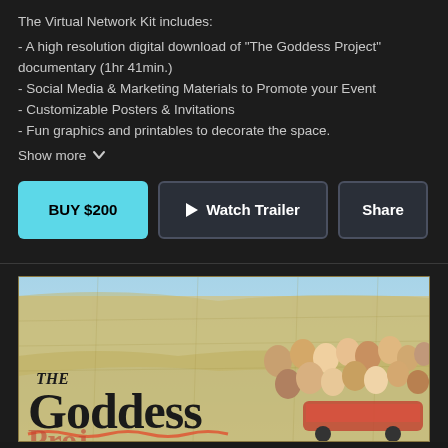The Virtual Network Kit includes:
- A high resolution digital download of "The Goddess Project" documentary (1hr 41min.)
- Social Media & Marketing Materials to Promote your Event
- Customizable Posters & Invitations
- Fun graphics and printables to decorate the space.
Show more
BUY $200
Watch Trailer
Share
[Figure (illustration): Movie poster for 'The Goddess Project' showing a colorful map of North America with diverse group of women in the foreground and the title text in large stylized font]